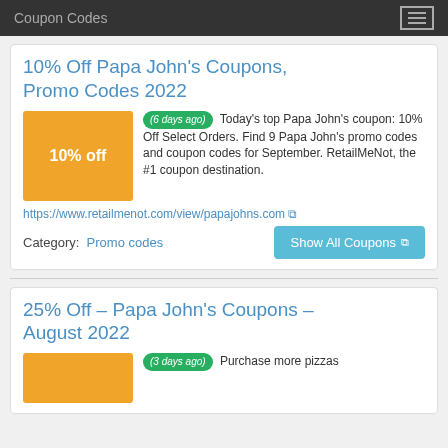Coupon Codes
10% Off Papa John's Coupons, Promo Codes 2022
(6 days ago) Today's top Papa John's coupon: 10% Off Select Orders. Find 9 Papa John's promo codes and coupon codes for September. RetailMeNot, the #1 coupon destination.
https://www.retailmenot.com/view/papajohns.com
Category: Promo codes
25% Off – Papa John's Coupons – August 2022
(3 days ago) Purchase more pizzas